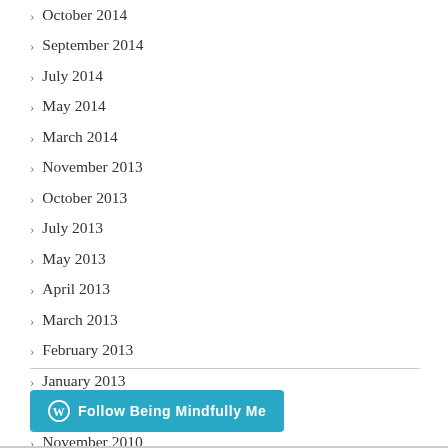October 2014
September 2014
July 2014
May 2014
March 2014
November 2013
October 2013
July 2013
May 2013
April 2013
March 2013
February 2013
January 2013
November 2012
November 2010
August 2010
Follow Being Mindfully Me